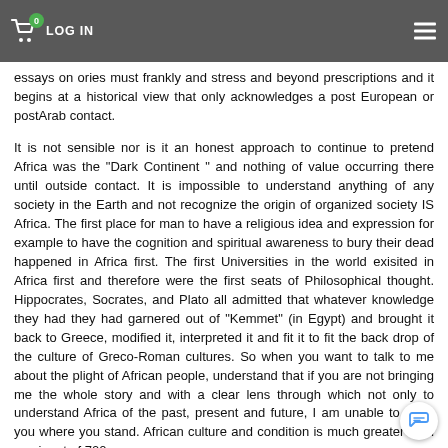LOG IN [navigation bar with cart icon and hamburger menu]
essays onories must frankly and stress and beyond prescriptions and it begins at a historical view that only acknowledges a post European or postArab contact.
It is not sensible nor is it an honest approach to continue to pretend Africa was the "Dark Continent" and nothing of value occurring there until outside contact. It is impossible to understand anything of any society in the Earth and not recognize the origin of organized society IS Africa. The first place for man to have a religious idea and expression for example to have the cognition and spiritual awareness to bury their dead happened in Africa first. The first Universities in the world exisited in Africa first and therefore were the first seats of Philosophical thought. Hippocrates, Socrates, and Plato all admitted that whatever knowledge they had they had garnered out of "Kemmet" (in Egypt) and brought it back to Greece, modified it, interpreted it and fit it to fit the back drop of the culture of Greco-Roman cultures. So when you want to talk to me about the plight of African people, understand that if you are not bringing me the whole story and with a clear lens through which not only to understand Africa of the past, present and future, I am unable to meet you where you stand. African culture and condition is much greater than a snippet of 700 years.
I do not engage in conversations that merely talk about personalities and accomplishments of individuals without recognizing the long term implications of long standing, vast kingdoms and their impact on the world and then subsequently them meeting their demise through a global